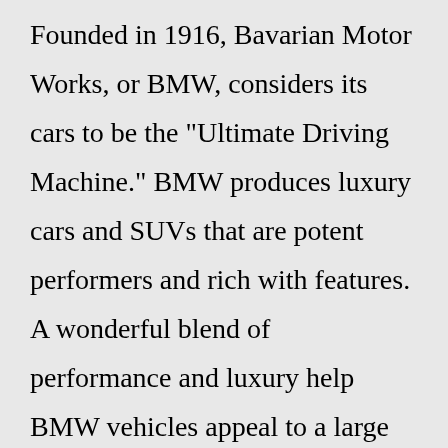Founded in 1916, Bavarian Motor Works, or BMW, considers its cars to be the "Ultimate Driving Machine." BMW produces luxury cars and SUVs that are potent performers and rich with features. A wonderful blend of performance and luxury help BMW vehicles appeal to a large and diverse demographic. 2 Door Coupe More years and models100% tested to O.E.M. specifications (form, fit and function) Exactly fits in the place of your original